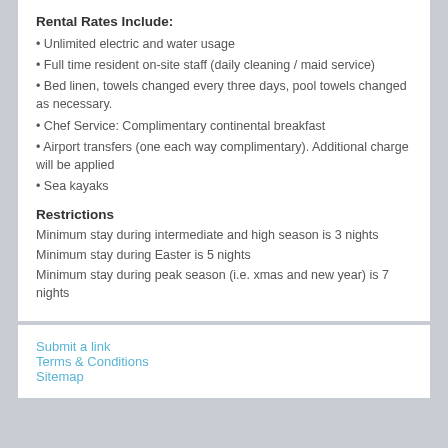Rental Rates Include:
Unlimited electric and water usage
Full time resident on-site staff (daily cleaning / maid service)
Bed linen, towels changed every three days, pool towels changed as necessary.
Chef Service: Complimentary continental breakfast
Airport transfers (one each way complimentary).  Additional charge will be applied
Sea kayaks
Restrictions
Minimum stay during intermediate and high season is 3 nights
Minimum stay during Easter is 5 nights
Minimum stay during peak season (i.e. xmas and new year) is 7 nights
Submit a link
Terms & Conditions
Sitemap